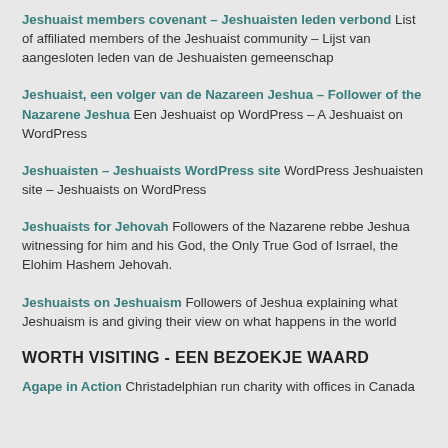Jeshuaist members covenant – Jeshuaisten leden verbond List of affiliated members of the Jeshuaist community – Lijst van aangesloten leden van de Jeshuaisten gemeenschap
Jeshuaist, een volger van de Nazareen Jeshua – Follower of the Nazarene Jeshua Een Jeshuaist op WordPress – A Jeshuaist on WordPress
Jeshuaisten – Jeshuaists WordPress site WordPress Jeshuaisten site – Jeshuaists on WordPress
Jeshuaists for Jehovah Followers of the Nazarene rebbe Jeshua witnessing for him and his God, the Only True God of Isrrael, the Elohim Hashem Jehovah.
Jeshuaists on Jeshuaism Followers of Jeshua explaining what Jeshuaism is and giving their view on what happens in the world
WORTH VISITING - EEN BEZOEKJE WAARD
Agape in Action Christadelphian run charity with offices in Canada